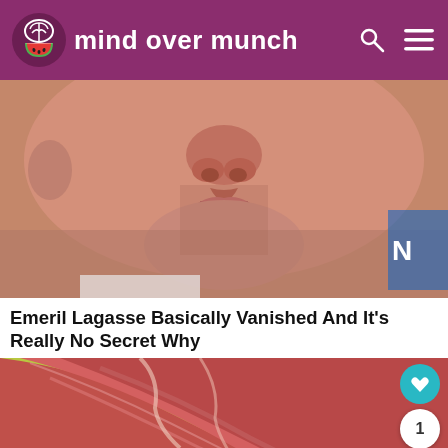mind over munch
[Figure (photo): Close-up photograph of a man's face (Emeril Lagasse), showing nose, lips and chin area, slightly red complexion, white collar visible at bottom, blue text/logo partially visible at right edge]
Emeril Lagasse Basically Vanished And It's Really No Secret Why
[Figure (photo): Close-up photograph of raw red meat pieces on a yellow-green surface, with social media action buttons overlaid on the right side (heart/like button in teal, count showing 1, and share button)]
[Figure (screenshot): Advertisement bar at bottom: 'Get In On The Buzz - Smoothie King' ad with play button, Smoothie King logo, blue direction arrow icon, and close button on dark background]